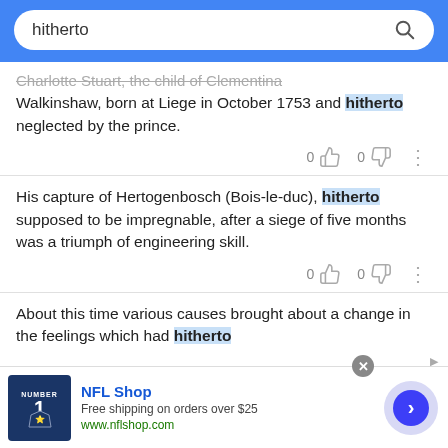hitherto [search bar]
Charlotte Stuart, the child of Clementina Walkinshaw, born at Liege in October 1753 and hitherto neglected by the prince.
His capture of Hertogenbosch (Bois-le-duc), hitherto supposed to be impregnable, after a siege of five months was a triumph of engineering skill.
About this time various causes brought about a change in the feelings which had hitherto
[Figure (screenshot): NFL Shop advertisement banner with jersey image, free shipping offer, and navigation arrow]